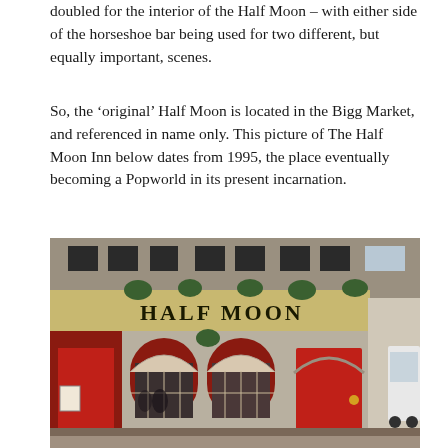doubled for the interior of the Half Moon – with either side of the horseshoe bar being used for two different, but equally important, scenes.
So, the 'original' Half Moon is located in the Bigg Market, and referenced in name only. This picture of The Half Moon Inn below dates from 1995, the place eventually becoming a Popworld in its present incarnation.
[Figure (photo): Black and white photograph of the exterior of The Half Moon Inn pub, showing ornate Victorian stonework facade with arched windows, hanging baskets, large sign reading 'HALF MOON', and red painted doors. A white van is visible on the right edge.]